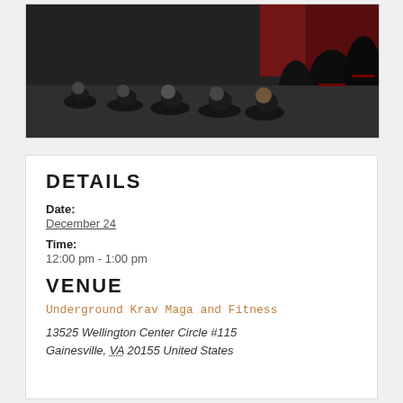[Figure (photo): Group of people in black workout attire doing exercises on a gym floor next to large punching bags against a red and black wall at Underground Krav Maga and Fitness.]
DETAILS
Date:
December 24
Time:
12:00 pm - 1:00 pm
VENUE
Underground Krav Maga and Fitness
13525 Wellington Center Circle #115
Gainesville, VA 20155 United States